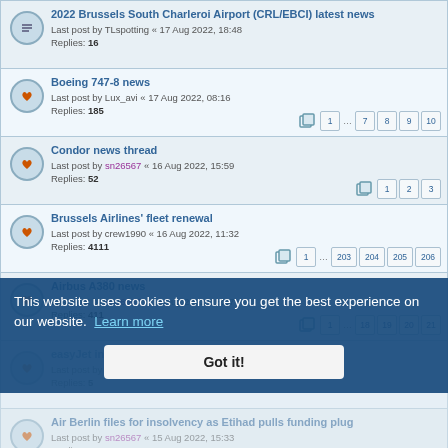2022 Brussels South Charleroi Airport (CRL/EBCI) latest news — Last post by TLspotting « 17 Aug 2022, 18:48 — Replies: 16
Boeing 747-8 news — Last post by Lux_avi « 17 Aug 2022, 08:16 — Replies: 185 — pages: 1 … 7 8 9 10
Condor news thread — Last post by sn26567 « 16 Aug 2022, 15:59 — Replies: 52 — pages: 1 2 3
Brussels Airlines' fleet renewal — Last post by crew1990 « 16 Aug 2022, 11:32 — Replies: 4111 — pages: 1 … 203 204 205 206
Airbus A380 news — Last post by sn26567 « 15 Aug 2022, 15:37 — Replies: 411 — pages: 1 … 18 19 20 21
easyJet in 2022 — Last post by … — Replies: 5
Air Berlin files for insolvency as Etihad pulls funding plug — Last post by sn26567 « 15 Aug 2022, 15:33 — Replies: 14… — pages: 1 … 5 6 7 8
Start-up, new airlines — Last post by sn26567 « 15 Aug 2022, 15:32 — Replies: 313 — pages: 1 … 13 14 15 16
This website uses cookies to ensure you get the best experience on our website. Learn more — Got it!